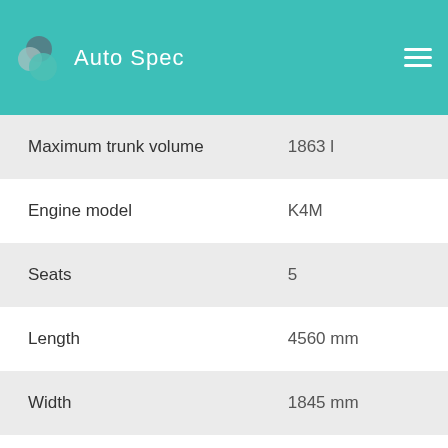Auto Spec
| Specification | Value |
| --- | --- |
| Maximum trunk volume | 1863 l |
| Engine model | K4M |
| Seats | 5 |
| Length | 4560 mm |
| Width | 1845 mm |
| Width (including mirrors) | 2077 mm |
| Height | 1675 mm |